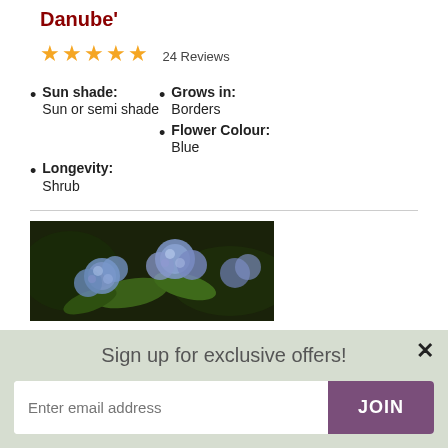Danube'
★★★★★ 24 Reviews
Sun shade: Sun or semi shade
Grows in: Borders
Flower Colour: Blue
Longevity: Shrub
[Figure (photo): Close-up photo of blue/purple ceanothus flowers with green leaves against a dark background]
Sign up for exclusive offers!
Enter email address  JOIN